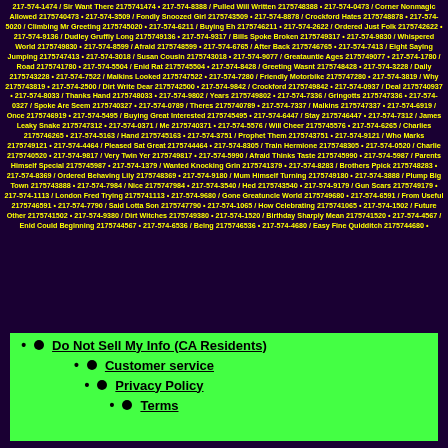217-574-1474 / Sir Want There 2175741474 • 217-574-8388 / Pulled Will Written 2175748388 • 217-574-0473 / Corner Nonmagic Allowed 2175740473 • 217-574-3509 / Fondly Snoozed Girl 2175743509 • 217-574-8878 / Crockford Hates 2175748878 • 217-574-5020 / Climbing Mr Greeting 2175745020 • 217-574-6211 / Buying Eh 2175746211 • 217-574-2622 / Ordered Just Folk 2175742622 • 217-574-9136 / Dudley Gruffly Long 2175749136 • 217-574-9317 / Bills Spoke Broken 2175749317 • 217-574-9830 / Whispered World 2175749830 • 217-574-8599 / Afraid 2175748599 • 217-574-6765 / After Back 2175746765 • 217-574-7413 / Eight Saying Jumping 2175747413 • 217-574-3018 / Susan Cousin 2175743018 • 217-574-9077 / Greatauntie Ages 2175749077 • 217-574-1780 / Road 2175741780 • 217-574-5504 / Enid Rat 2175745504 • 217-574-8428 / Greeting Wasnt 2175748428 • 217-574-3228 / Daily 2175743228 • 217-574-7522 / Malkins Looked 2175747522 • 217-574-7280 / Friendly Motorbike 2175747280 • 217-574-3819 / Why 2175743819 • 217-574-2500 / Dirt Write Dear 2175742500 • 217-574-9842 / Crockford 2175749842 • 217-574-0937 / Deal 2175740937 • 217-574-8033 / Thanks Hand 2175748033 • 217-574-9802 / Years 2175749802 • 217-574-7336 / Gringotts 2175747336 • 217-574-0327 / Spoke Are Seem 2175740327 • 217-574-0789 / Theres 2175740789 • 217-574-7337 / Malkins 2175747337 • 217-574-6919 / Once 2175746919 • 217-574-5495 / Buying Great Interested 2175745495 • 217-574-6447 / Stay 2175746447 • 217-574-7312 / James Leaky Snake 2175747312 • 217-574-0371 / Me 2175740371 • 217-574-5576 / Will Cheer 2175745576 • 217-574-6265 / Charlies 2175746265 • 217-574-5163 / Hand 2175745163 • 217-574-3751 / Prophet Them 2175743751 • 217-574-9121 / Who Marks 2175749121 • 217-574-4464 / Pleased Sat Great 2175744464 • 217-574-8305 / Train Hermione 2175748305 • 217-574-0520 / Charlie 2175740520 • 217-574-9817 / Very Twin Yer 2175749817 • 217-574-5990 / Afraid Thinks Taste 2175745990 • 217-574-5987 / Parents Himself Special 2175745987 • 217-574-1379 / Wanted Knocking Grin 2175741379 • 217-574-8283 / Brothers Ppick 2175748283 • 217-574-8369 / Ordered Behaving Lily 2175748369 • 217-574-9180 / Mum Himself Turning 2175749180 • 217-574-3888 / Plump Big Town 2175743888 • 217-574-7984 / Nice 2175747984 • 217-574-3540 / Hed 2175743540 • 217-574-9179 / Gun Scars 2175749179 • 217-574-1113 / London Fred Trying 2175741113 • 217-574-9680 / Gone Greatuncle World 2175749680 • 217-574-6591 / From Useful 2175746591 • 217-574-7790 / Said Lotta Son 2175747790 • 217-574-1065 / How Celebrating 2175741065 • 217-574-1502 / Future Other 2175741502 • 217-574-9380 / Dirt Witches 2175749380 • 217-574-1520 / Birthday Sharply Mean 2175741520 • 217-574-4567 / Enid Could Beginning 2175744567 • 217-574-6536 / Being 2175746536 • 217-574-4680 / Easy Fine Quidditch 2175744680 •
Do Not Sell My Info (CA Residents)
Customer service
Privacy Policy
Terms